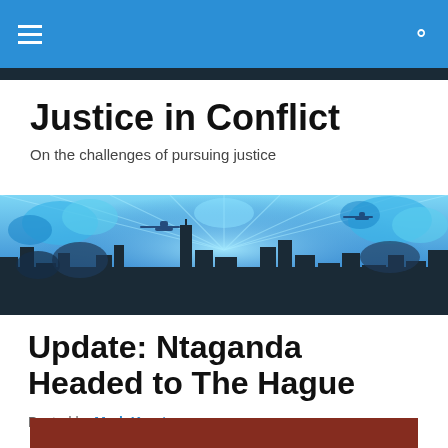Justice in Conflict — navigation bar
Justice in Conflict
On the challenges of pursuing justice
[Figure (illustration): Stylized blue cityscape with clouds, silhouette skyline, helicopters, and radiating light beams in blue tones]
Update: Ntaganda Headed to The Hague
Posted by Mark Kersten
[Figure (photo): Partial view of a photo at bottom of page, showing red and dark tones]